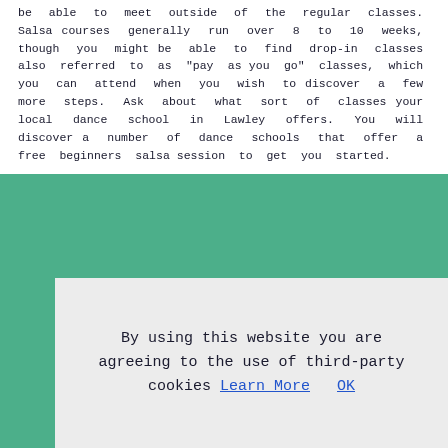be able to meet outside of the regular classes. Salsa courses generally run over 8 to 10 weeks, though you might be able to find drop-in classes also referred to as "pay as you go" classes, which you can attend when you wish to discover a few more steps. Ask about what sort of classes your local dance school in Lawley offers. You will discover a number of dance schools that offer a free beginners salsa session to get you started.
By using this website you are agreeing to the use of third-party cookies Learn More OK